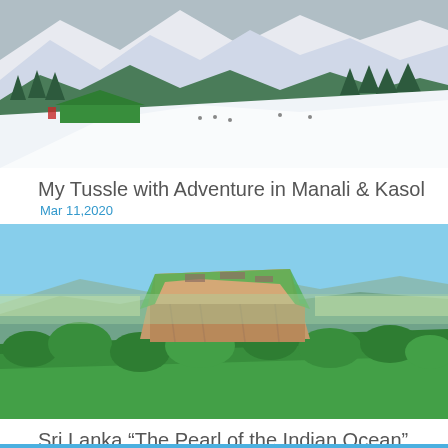[Figure (photo): Snowy mountain landscape with green pine trees, snow-covered slopes, a green-roofed pavilion/building in the lower left, and people visible on the snow. Background shows snow-capped mountain peaks.]
My Tussle with Adventure in Manali & Kasol
Mar 11,2020
[Figure (photo): Aerial view of Sigiriya Lion Rock fortress in Sri Lanka, a large rocky plateau rising above dense green jungle/forest, with mountains and plains visible in the background under a blue sky.]
Sri Lanka “The Pearl of the Indian Ocean”
Mar 06,2020